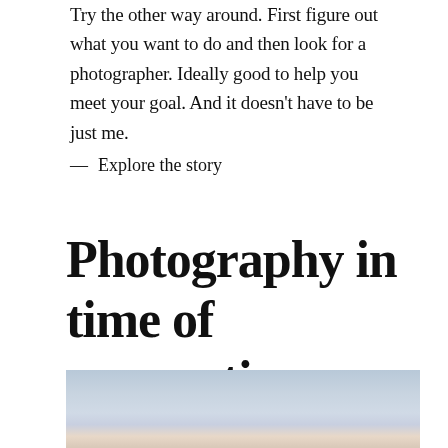Try the other way around. First figure out what you want to do and then look for a photographer. Ideally good to help you meet your goal. And it doesn't have to be just me.
— Explore the story
Photography in time of quarantine
[Figure (photo): Landscape photo showing a sky with soft clouds over a horizon, muted blueish-grey and warm tones]